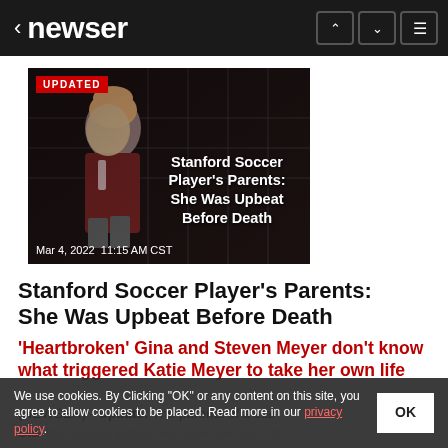newser
[Figure (photo): Photo of a female soccer player near a goal net, with overlay text 'Stanford Soccer Player's Parents: She Was Upbeat Before Death' and date 'Mar 4, 2022  11:15 AM CST'. Red 'UPDATED' badge at top left.]
Stanford Soccer Player's Parents: She Was Upbeat Before Death
'Heartbroken' Gina and Steven Meyer don't know what triggered Katie Meyer to take her own life
(NEWSER) - Update: The parents of a star Stanford soccer player who took her own life said in their...
We use cookies. By Clicking "OK" or any content on this site, you agree to allow cookies to be placed. Read more in our privacy policy.